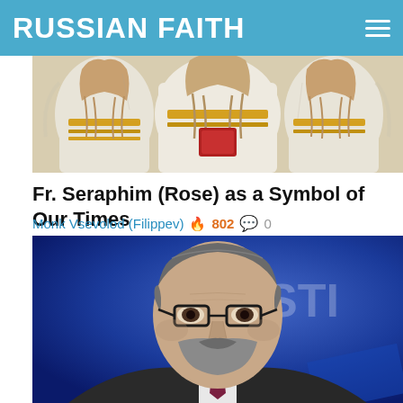RUSSIAN FAITH
[Figure (illustration): Religious icon artwork showing angelic figures in white robes with golden details, long flowing hair, against a light background]
Fr. Seraphim (Rose) as a Symbol of Our Times
Monk Vsevolod (Filippev) 🔥 802 💬 0
[Figure (photo): Portrait photo of a man with short gray-brown hair, beard, wearing glasses and a dark suit with a burgundy tie, against a blue background with partial text 'STI' visible]